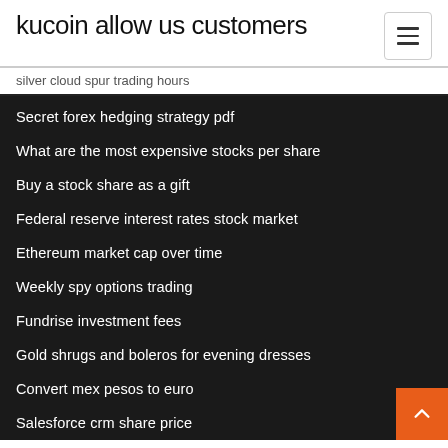kucoin allow us customers
silver cloud spur trading hours
Secret forex hedging strategy pdf
What are the most expensive stocks per share
Buy a stock share as a gift
Federal reserve interest rates stock market
Ethereum market cap over time
Weekly spy options trading
Fundrise investment fees
Gold shrugs and boleros for evening dresses
Convert mex pesos to euro
Salesforce crm share price